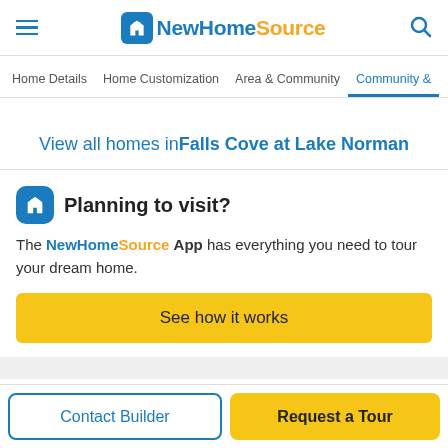NewHomeSource
Home Details | Home Customization | Area & Community | Community &
View all homes in Falls Cove at Lake Norman
Planning to visit?
The NewHomeSource App has everything you need to tour your dream home.
See how it works
Contact Builder
Request a Tour